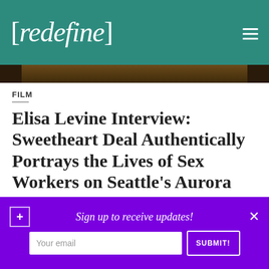[redefine]
FILM
Elisa Levine Interview: Sweetheart Deal Authentically Portrays the Lives of Sex Workers on Seattle's Aurora Avenue
Alison Smith
Sign up to receive updates!